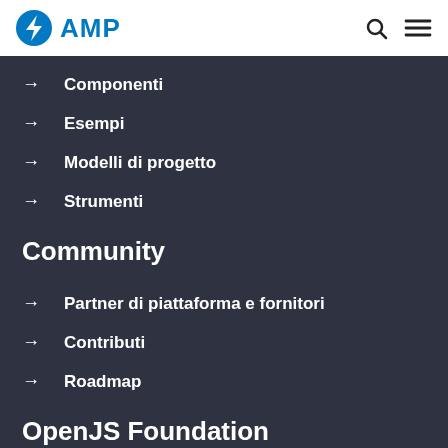AMP
→ Componenti
→ Esempi
→ Modelli di progetto
→ Strumenti
Community
→ Partner di piattaforma e fornitori
→ Contributi
→ Roadmap
OpenJS Foundation
→ The OpenJS Foundation
→ OpenJS Foundation Bylaws
→ Trademark Policy
→ Trademark List